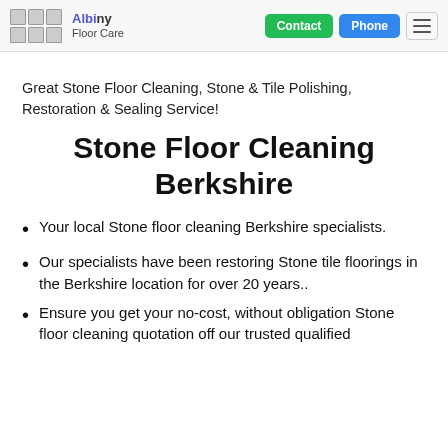Floor Care | Contact | Phone
Great Stone Floor Cleaning, Stone & Tile Polishing, Restoration & Sealing Service!
Stone Floor Cleaning Berkshire
Your local Stone floor cleaning Berkshire specialists.
Our specialists have been restoring Stone tile floorings in the Berkshire location for over 20 years..
Ensure you get your no-cost, without obligation Stone floor cleaning quotation off our trusted qualified